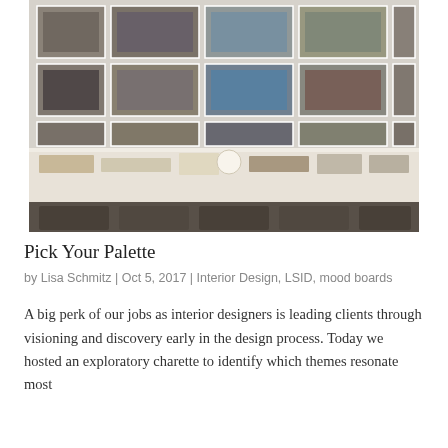[Figure (photo): Interior design studio workspace showing a large table covered with material samples, swatches, and product samples. Behind the table is a wall covered in a grid of printed interior design inspiration photos and mood board images in various styles.]
Pick Your Palette
by Lisa Schmitz | Oct 5, 2017 | Interior Design, LSID, mood boards
A big perk of our jobs as interior designers is leading clients through visioning and discovery early in the design process. Today we hosted an exploratory charette to identify which themes resonate most with our clients and to understand how those